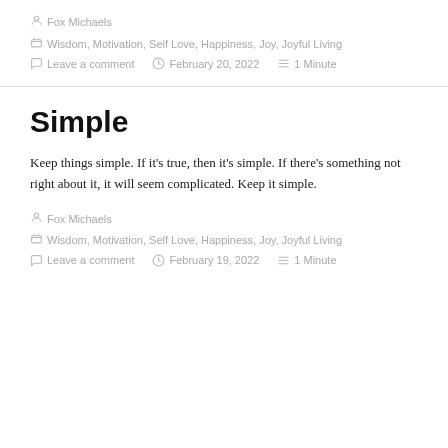Fox Michaels
Wisdom, Motivation, Self Love, Happiness, Joy, Joyful Living
Leave a comment   February 20, 2022   1 Minute
Simple
Keep things simple. If it's true, then it's simple. If there's something not right about it, it will seem complicated. Keep it simple.
Fox Michaels
Wisdom, Motivation, Self Love, Happiness, Joy, Joyful Living
Leave a comment   February 19, 2022   1 Minute